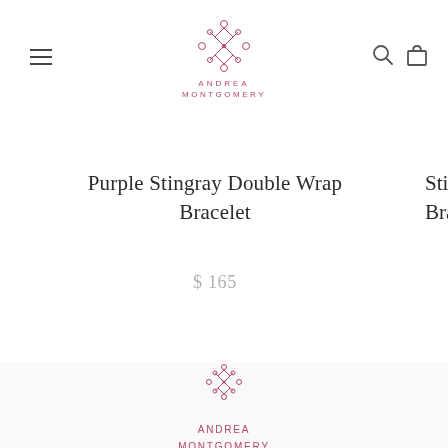Andrea Montgomery — navigation header with logo, menu icon, search icon, and bag icon
Purple Stingray Double Wrap Bracelet
$ 165
Sting... Bra...
[Figure (logo): Andrea Montgomery ornamental logo mark in dark rose/burgundy color]
ANDREA MONTGOMERY